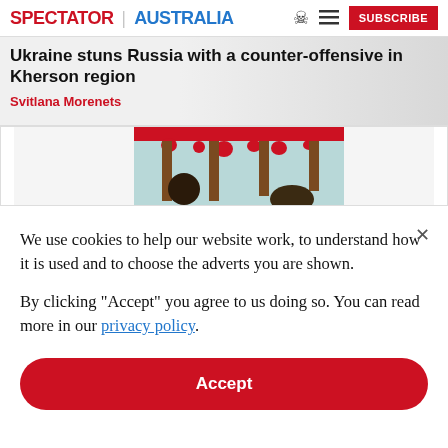SPECTATOR | AUSTRALIA
Ukraine stuns Russia with a counter-offensive in Kherson region
Svitlana Morenets
[Figure (illustration): Partial illustration showing a figure with red dripping at top, part of an editorial cartoon or artwork]
We use cookies to help our website work, to understand how it is used and to choose the adverts you are shown.
By clicking "Accept" you agree to us doing so. You can read more in our privacy policy.
Accept